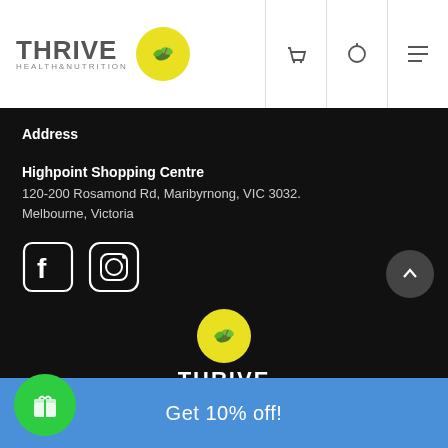[Figure (logo): Thrive Health & Nutrition logo with yellow circle containing green leaves, in white header navigation bar with cart, search, and menu icons]
Address
Highpoint Shopping Centre
120-200 Rosamond Rd, Maribyrnong, VIC 3032.
Melbourne, Victoria
[Figure (illustration): Facebook and Instagram social media icons outlined in white on black background]
[Figure (logo): Thrive Health & Nutrition footer logo with yellow circle and white text on black background]
© 2018 – All Rights Reserved
[Figure (illustration): Blue bottom bar with green gift icon button and Get 10% off! text]